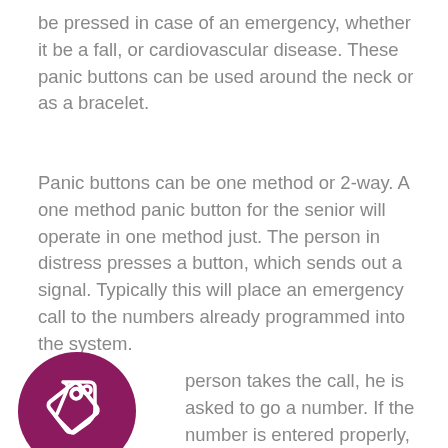be pressed in case of an emergency, whether it be a fall, or cardiovascular disease. These panic buttons can be used around the neck or as a bracelet.
Panic buttons can be one method or 2-way. A one method panic button for the senior will operate in one method just. The person in distress presses a button, which sends out a signal. Typically this will place an emergency call to the numbers already programmed into the system.
[Figure (illustration): Dark magenta/purple circle with a white price tag icon inside]
person takes the call, he is asked to go a number. If the number is entered properly, then the system presumes that it is a